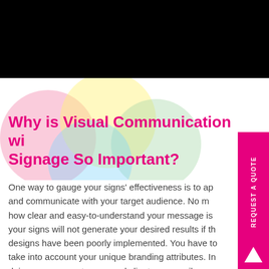[Figure (photo): Black rectangular image at top of page]
[Figure (illustration): Overlapping colorful circles (pink, yellow, green, blue) as decorative background element]
Why is Visual Communication with Signage So Important?
One way to gauge your signs' effectiveness is to ap and communicate with your target audience. No m how clear and easy-to-understand your message is your signs will not generate your desired results if th designs have been poorly implemented. You have to take into account your unique branding attributes. In doing so, your customers and clients can easily distinguish your brand in a sea of competitors.